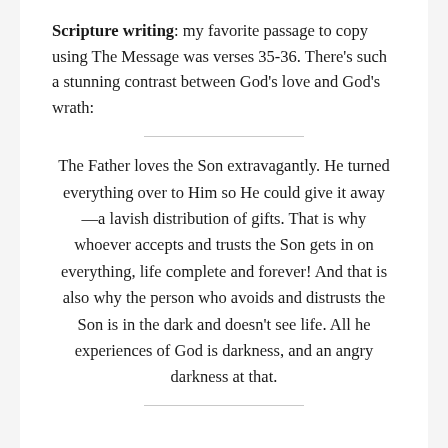Scripture writing: my favorite passage to copy using The Message was verses 35-36. There's such a stunning contrast between God's love and God's wrath:
The Father loves the Son extravagantly. He turned everything over to Him so He could give it away—a lavish distribution of gifts. That is why whoever accepts and trusts the Son gets in on everything, life complete and forever! And that is also why the person who avoids and distrusts the Son is in the dark and doesn't see life. All he experiences of God is darkness, and an angry darkness at that.